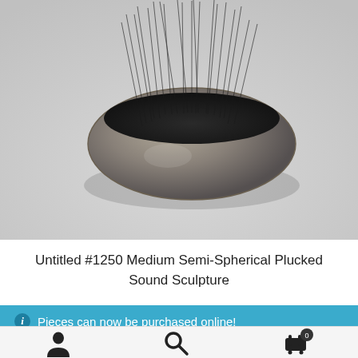[Figure (photo): Photograph of a metal bowl-shaped sculpture filled with dark wire or needle-like rods protruding upward, casting a shadow on a light grey background]
Untitled #1250 Medium Semi-Spherical Plucked Sound Sculpture
Pieces can now be purchased online!
Dismiss